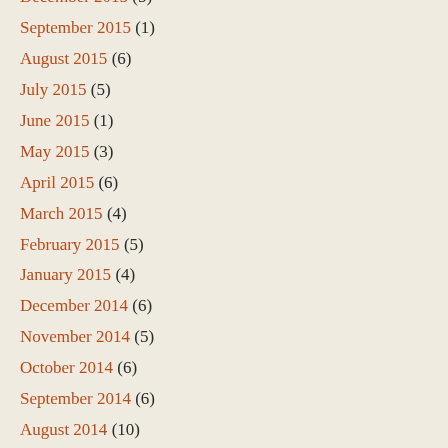December 2015 (5)
September 2015 (1)
August 2015 (6)
July 2015 (5)
June 2015 (1)
May 2015 (3)
April 2015 (6)
March 2015 (4)
February 2015 (5)
January 2015 (4)
December 2014 (6)
November 2014 (5)
October 2014 (6)
September 2014 (6)
August 2014 (10)